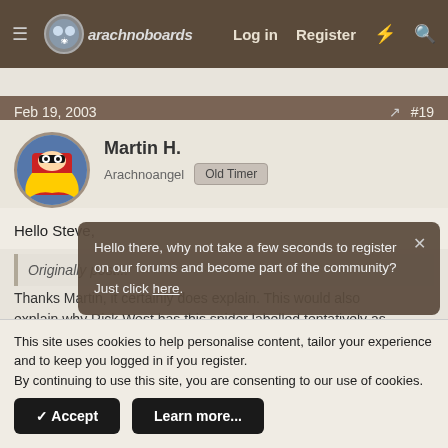arachnoboards  Log in  Register
Feb 19, 2003  #19
Martin H.
Arachnoangel  Old Timer
Hello Steve,
Originally post...
Thanks Martin, it certainly does explain. This would also explain why Rick West has this spider labelled tentatively as
Hello there, why not take a few seconds to register on our forums and become part of the community? Just click here.
This site uses cookies to help personalise content, tailor your experience and to keep you logged in if you register.
By continuing to use this site, you are consenting to our use of cookies.
✓ Accept  Learn more...